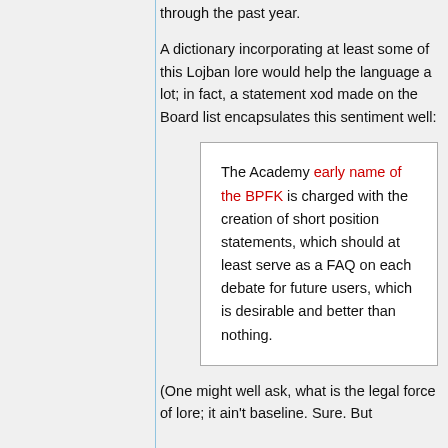through the past year.
A dictionary incorporating at least some of this Lojban lore would help the language a lot; in fact, a statement xod made on the Board list encapsulates this sentiment well:
The Academy early name of the BPFK is charged with the creation of short position statements, which should at least serve as a FAQ on each debate for future users, which is desirable and better than nothing.
(One might well ask, what is the legal force of lore; it ain't baseline. Sure. But